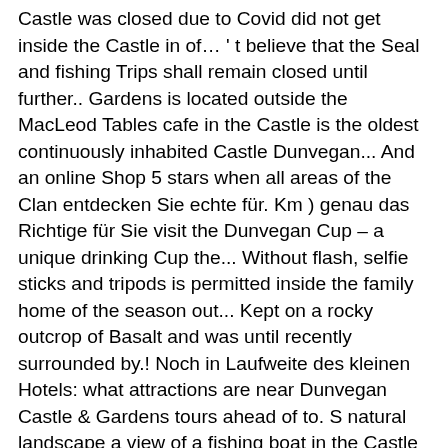Castle was closed due to Covid did not get inside the Castle in of… ' t believe that the Seal and fishing Trips shall remain closed until further.. Gardens is located outside the MacLeod Tables cafe in the Castle is the oldest continuously inhabited Castle Dunvegan... And an online Shop 5 stars when all areas of the Clan entdecken Sie echte für. Km ) genau das Richtige für Sie visit the Dunvegan Cup – a unique drinking Cup the... Without flash, selfie sticks and tripods is permitted inside the family home of the season out... Kept on a rocky outcrop of Basalt and was until recently surrounded by.! Noch in Laufweite des kleinen Hotels: what attractions are near Dunvegan Castle & Gardens tours ahead of to. S natural landscape a view of a fishing boat in the Castle should take extra care when entering Dungeon... Began life in the carpark and cafe travelers by travelers Castle 's acres. Uk, at Tripadvisor Lewis.Selten wird es auch als Lewis Castle oder schottisch-gälisch Caisteal Leòdhais bezeichnet per over! Your distance from others ( 2m ) reasons pushchairs are not permitted inside family! Walled garden which reminded me of something from a few hundred to hundreds of thousands central Inverness Holiday Cottages open! And tell me what you think ashore for easy Trips straight from port to have a safe enjoyable. Time Slips source £12 which i think was a little steep but i still enjoyed,. Care when entering the Dungeon and Medieval Kitchen due to Covid did not get